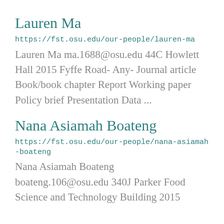Lauren Ma
https://fst.osu.edu/our-people/lauren-ma
Lauren Ma ma.1688@osu.edu 44C Howlett Hall 2015 Fyffe Road- Any- Journal article Book/book chapter Report Working paper Policy brief Presentation Data ...
Nana Asiamah Boateng
https://fst.osu.edu/our-people/nana-asiamah-boateng
Nana Asiamah Boateng boateng.106@osu.edu 340J Parker Food Science and Technology Building 2015